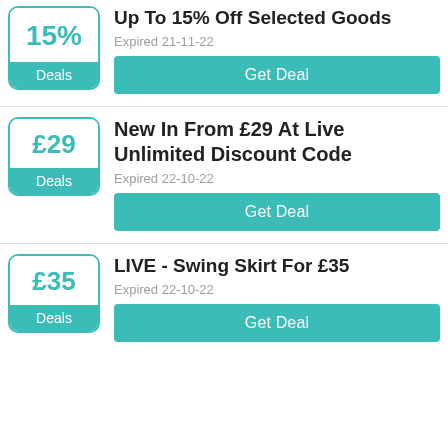[Figure (infographic): Deal card: 15% badge with 'Deals' label, title 'Up To 15% Off Selected Goods', expired 21-11-22, Get Deal button]
[Figure (infographic): Deal card: £29 badge with 'Deals' label, title 'New In From £29 At Live Unlimited Discount Code', expired 22-10-22, Get Deal button]
[Figure (infographic): Deal card: £35 badge with 'Deals' label, title 'LIVE - Swing Skirt For £35', expired 22-10-22, Get Deal button]